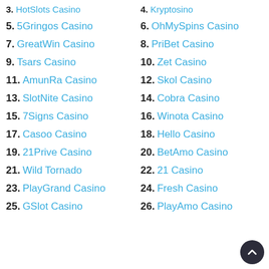3. HotSlots Casino
4. Kryptosino
5. 5Gringos Casino
6. OhMySpins Casino
7. GreatWin Casino
8. PriBet Casino
9. Tsars Casino
10. Zet Casino
11. AmunRa Casino
12. Skol Casino
13. SlotNite Casino
14. Cobra Casino
15. 7Signs Casino
16. Winota Casino
17. Casoo Casino
18. Hello Casino
19. 21Prive Casino
20. BetAmo Casino
21. Wild Tornado
22. 21 Casino
23. PlayGrand Casino
24. Fresh Casino
25. GSlot Casino
26. PlayAmo Casino